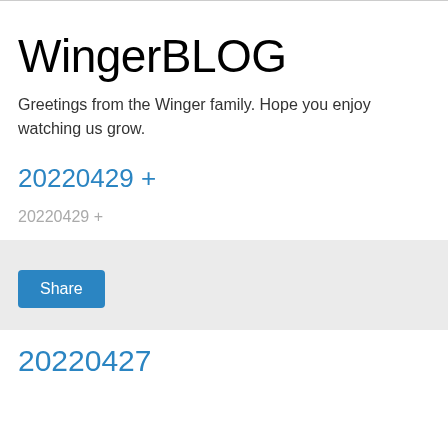WingerBLOG
Greetings from the Winger family. Hope you enjoy watching us grow.
20220429 +
20220429 +
Share
20220427